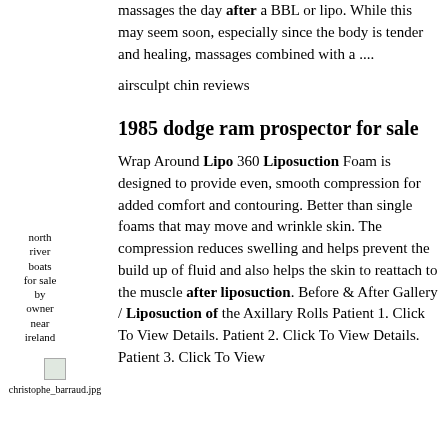massages the day after a BBL or lipo. While this may seem soon, especially since the body is tender and healing, massages combined with a ....
airsculpt chin reviews
1985 dodge ram prospector for sale
north river boats for sale by owner near ireland
[Figure (photo): Small image icon labeled christophe_barraud.jpg]
Wrap Around Lipo 360 Liposuction Foam is designed to provide even, smooth compression for added comfort and contouring. Better than single foams that may move and wrinkle skin. The compression reduces swelling and helps prevent the build up of fluid and also helps the skin to reattach to the muscle after liposuction. Before & After Gallery / Liposuction of the Axillary Rolls Patient 1. Click To View Details. Patient 2. Click To View Details. Patient 3. Click To View Details. Patient 4. Click To View Details.